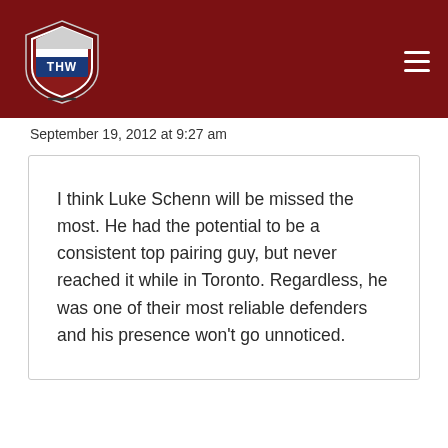[Figure (logo): THW hockey website logo — shield shape with THW text, dark red navigation bar with hamburger menu icon]
September 19, 2012 at 9:27 am
I think Luke Schenn will be missed the most. He had the potential to be a consistent top pairing guy, but never reached it while in Toronto. Regardless, he was one of their most reliable defenders and his presence won't go unnoticed.